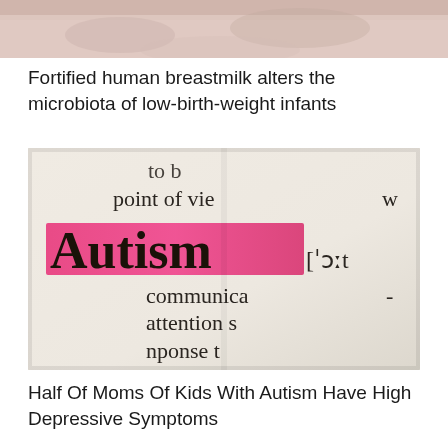[Figure (photo): Close-up photo of a baby or infant, soft pinkish-beige skin tones visible at top of page]
Fortified human breastmilk alters the microbiota of low-birth-weight infants
[Figure (photo): Close-up photo of a dictionary page showing the word 'Autism' highlighted in bright pink/magenta marker, with surrounding dictionary text including 'point of view', 'communica', 'attention s', 'nponse t', and phonetic transcription ['o:t]
Half Of Moms Of Kids With Autism Have High Depressive Symptoms